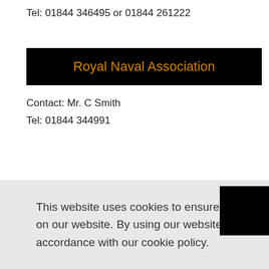Tel: 01844 346495 or 01844 261222
Royal Naval Association
Contact: Mr. C Smith
Tel: 01844 344991
This website uses cookies to ensure that you get the best experience on our website. By using our website you consent to all cookies in accordance with our cookie policy.
Cookie Policy
Thank you
mber
at a cost of £50 (2016). Bring your own cue or use one